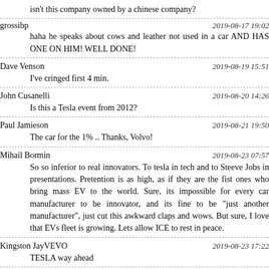isn't this company owned by a chinese company?
grossibp	2019-08-17 19:02
haha he speaks about cows and leather not used in a car AND HAS ONE ON HIM! WELL DONE!
Dave Venson	2019-08-19 15:51
I've cringed first 4 min.
John Cusanelli	2019-08-20 14:26
Is this a Tesla event from 2012?
Paul Jamieson	2019-08-21 19:50
The car for the 1% .. Thanks, Volvo!
Mihail Bormin	2019-08-23 07:57
So so inferior to real innovators. To tesla in tech and to Steeve Jobs in presentations. Pretention is as high, as if they are the fist ones who bring mass EV to the world. Sure, its impossible for every car manufacturer to be innovator, and its fine to be "just another manufacturer", just cut this awkward claps and wows. But sure, I love that EVs fleet is growing. Lets allow ICE to rest in peace.
Kingston JayVEVO	2019-08-23 17:22
TESLA way ahead
2019-08-24 07:1